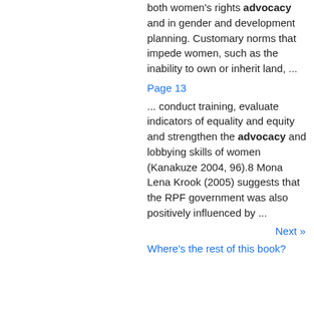both women's rights advocacy and in gender and development planning. Customary norms that impede women, such as the inability to own or inherit land, ...
Page 13
... conduct training, evaluate indicators of equality and equity and strengthen the advocacy and lobbying skills of women (Kanakuze 2004, 96).8 Mona Lena Krook (2005) suggests that the RPF government was also positively influenced by ...
Next »
Where's the rest of this book?